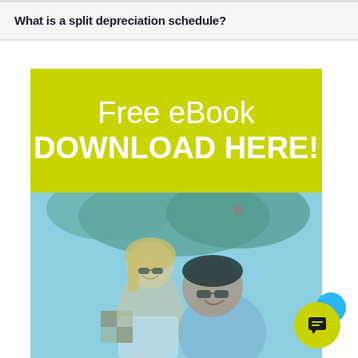What is a split depreciation schedule?
[Figure (infographic): Lime green banner with white text reading 'Free eBook DOWNLOAD HERE!']
[Figure (photo): Two people smiling while looking at a tablet/laptop, overlaid with a light blue tint. A woman with blonde hair and glasses stands behind a man with dark hair and glasses. Green foliage visible in the background.]
[Figure (infographic): Chat widget with overlapping circles: blue circle on top right, yellow-green circle on bottom left containing a dark chat bubble icon.]